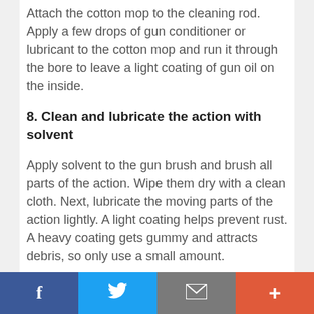Attach the cotton mop to the cleaning rod. Apply a few drops of gun conditioner or lubricant to the cotton mop and run it through the bore to leave a light coating of gun oil on the inside.
8. Clean and lubricate the action with solvent
Apply solvent to the gun brush and brush all parts of the action. Wipe them dry with a clean cloth. Next, lubricate the moving parts of the action lightly. A light coating helps prevent rust. A heavy coating gets gummy and attracts debris, so only use a small amount.
9. Wipe down the rest of your Steyr S40-
f  [twitter]  [mail]  +